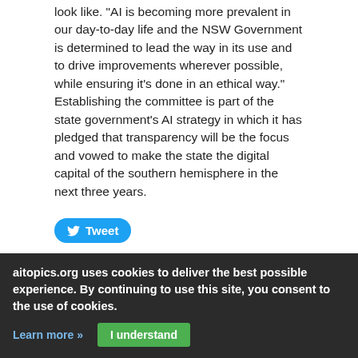look like. "AI is becoming more prevalent in our day-to-day life and the NSW Government is determined to lead the way in its use and to drive improvements wherever possible, while ensuring it's done in an ethical way." Establishing the committee is part of the state government's AI strategy in which it has pledged that transparency will be the focus and vowed to make the state the digital capital of the southern hemisphere in the next three years.
[Figure (other): Tweet button (Twitter/X share button in blue with bird icon)]
One in 1,000 years? Old flood probabilities no longer hold water
#artificialintelligence   5 months ago
aitopics.org uses cookies to deliver the best possible experience. By continuing to use this site, you consent to the use of cookies.